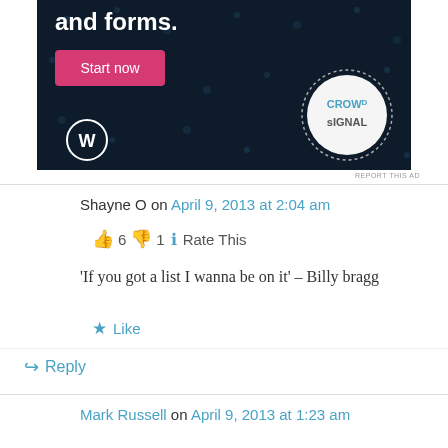[Figure (screenshot): Advertisement banner for Crowdsignal with dark navy background, 'and forms.' text, pink 'Start now' button, WordPress logo, and Crowdsignal circular logo]
REPORT THIS AD
Shayne O on April 9, 2013 at 2:04 am
👍 6 👎 1 ℹ Rate This
'If you got a list I wanna be on it' – Billy bragg
★ Like
↪ Reply
Mark Russell on April 9, 2013 at 1:23 am